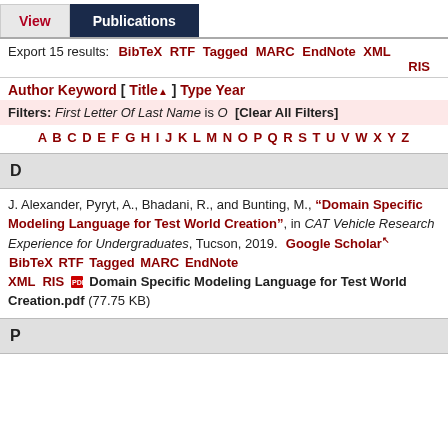View | Publications
Export 15 results: BibTeX RTF Tagged MARC EndNote XML RIS
Author Keyword [ Title ] Type Year
Filters: First Letter Of Last Name is O [Clear All Filters]
A B C D E F G H I J K L M N O P Q R S T U V W X Y Z
D
J. Alexander, Pyryt, A., Bhadani, R., and Bunting, M., "Domain Specific Modeling Language for Test World Creation", in CAT Vehicle Research Experience for Undergraduates, Tucson, 2019. Google Scholar BibTeX RTF Tagged MARC EndNote XML RIS  Domain Specific Modeling Language for Test World Creation.pdf (77.75 KB)
P